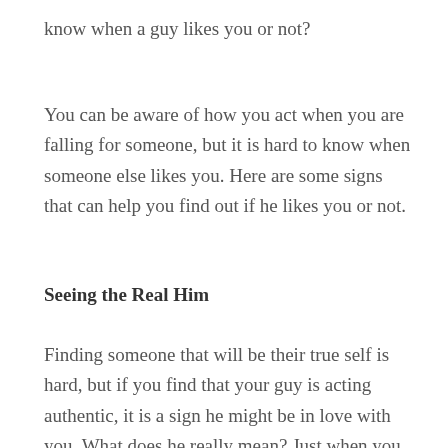know when a guy likes you or not?
You can be aware of how you act when you are falling for someone, but it is hard to know when someone else likes you. Here are some signs that can help you find out if he likes you or not.
Seeing the Real Him
Finding someone that will be their true self is hard, but if you find that your guy is acting authentic, it is a sign he might be in love with you. What does he really mean? Just when you want to get to know